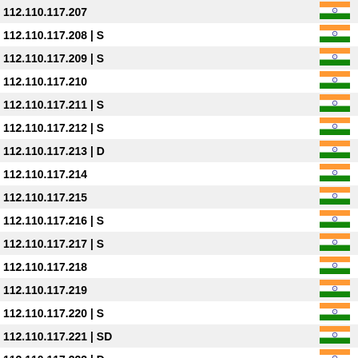| IP Address | Country |
| --- | --- |
| 112.110.117.207 | India |
| 112.110.117.208 | S | India |
| 112.110.117.209 | S | India |
| 112.110.117.210 | India |
| 112.110.117.211 | S | India |
| 112.110.117.212 | S | India |
| 112.110.117.213 | D | India |
| 112.110.117.214 | India |
| 112.110.117.215 | India |
| 112.110.117.216 | S | India |
| 112.110.117.217 | S | India |
| 112.110.117.218 | India |
| 112.110.117.219 | India |
| 112.110.117.220 | S | India |
| 112.110.117.221 | SD | India |
| 112.110.117.222 | D | India |
| 112.110.117.223 | India |
| 112.110.117.224 | SD | India |
| 112.110.117.225 | India |
| 112.110.117.226 | India |
| 112.110.117.227 | India |
| 112.110.117.228 | India |
| 112.110.117.229 | India |
| 112.110.117.230 | S | India |